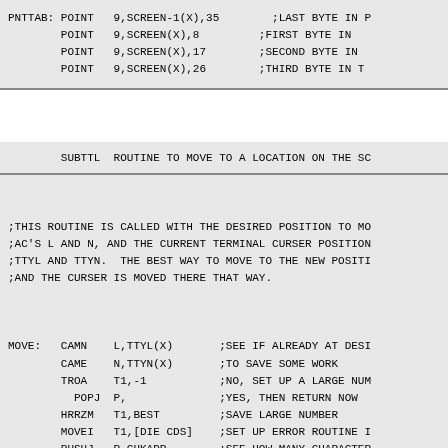PNTTAB: POINT   9,SCREEN-1(X),35        ;LAST BYTE IN P
        POINT   9,SCREEN(X),8         ;FIRST BYTE IN
        POINT   9,SCREEN(X),17        ;SECOND BYTE IN
        POINT   9,SCREEN(X),26        ;THIRD BYTE IN
SUBTTL  ROUTINE TO MOVE TO A LOCATION ON THE SC
;THIS ROUTINE IS CALLED WITH THE DESIRED POSITION TO MO
;AC'S L AND N, AND THE CURRENT TERMINAL CURSER POSITION
;TTYL AND TTYN.  THE BEST WAY TO MOVE TO THE NEW POSITI
;AND THE CURSER IS MOVED THERE THAT WAY.
MOVE:   CAMN    L,TTYL(X)       ;SEE IF ALREADY AT DESI
        CAME    N,TTYN(X)       ;TO SAVE SOME WORK
        TROA    T1,-1           ;NO, SET UP A LARGE NUM
          POPJ  P,              ;YES, THEN RETURN NOW
        HRRZM   T1,BEST         ;SAVE LARGE NUMBER
        MOVEI   T1,[DIE CDS]    ;SET UP ERROR ROUTINE I
        PUSHJ   P,CHKADR        ;SEE HOW MANY CHARACTER
        CAML    L,TTYL(X)       ;IS NEW LOCATION LOWER
        TDZA    T2,T2           ;YES, CLEAR AC
        MOVEI   T2,1            ;NO, SET LOW ORDER BIT
        CAMGE   N,TTYN(X)       ;IS NEW LOCATION TO LE